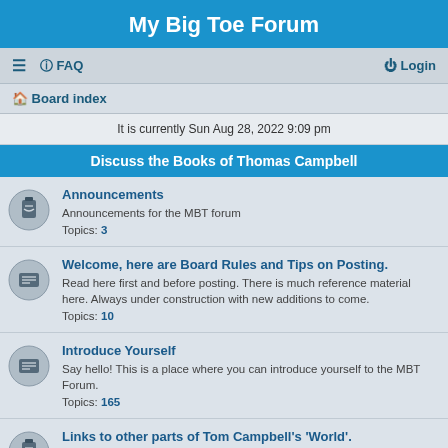My Big Toe Forum
☰  FAQ    Login
Board index
It is currently Sun Aug 28, 2022 9:09 pm
Discuss the Books of Thomas Campbell
Announcements
Announcements for the MBT forum
Topics: 3
Welcome, here are Board Rules and Tips on Posting.
Read here first and before posting. There is much reference material here. Always under construction with new additions to come.
Topics: 10
Introduce Yourself
Say hello! This is a place where you can introduce yourself to the MBT Forum.
Topics: 165
Links to other parts of Tom Campbell's 'World'.
Quick links to reach Tom Campbell's Web Site, Wiki, Events Site, Facebook Page and more.
Topics: 11
Read Reviews
Topics: 3